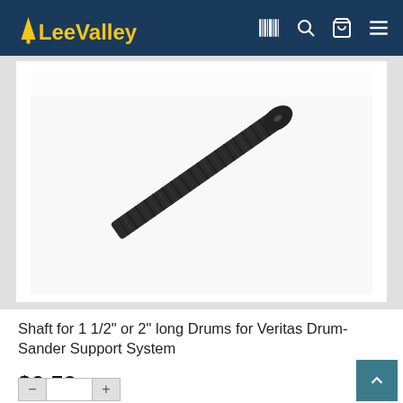Lee Valley
[Figure (photo): Close-up photo of a dark threaded metal shaft/bolt with a flat round head, photographed at an angle on a white background]
Shaft for 1 1/2" or 2" long Drums for Veritas Drum-Sander Support System
$6.50